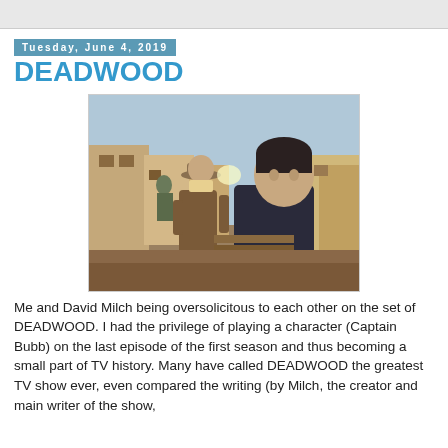Tuesday, June 4, 2019
DEADWOOD
[Figure (photo): Two men on the set of DEADWOOD TV show — one dressed in western costume with a hat and coat, the other in a dark sweater, on what appears to be a Western frontier street set.]
Me and David Milch being oversolicitous to each other on the set of DEADWOOD. I had the privilege of playing a character (Captain Bubb) on the last episode of the first season and thus becoming a small part of TV history. Many have called DEADWOOD the greatest TV show ever, even compared the writing (by Milch, the creator and main writer of the show, and fellow characters and friends) to Shakespeare. And the